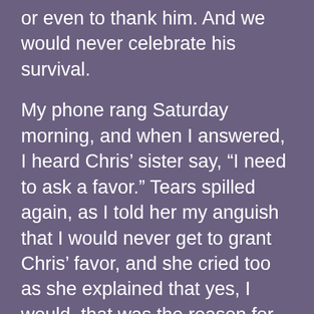or even to thank him. And we would never celebrate his survival.
My phone rang Saturday morning, and when I answered, I heard Chris' sister say, “I need to ask a favor.” Tears spilled again, as I told her my anguish that I would never get to grant Chris’ favor, and she cried too as she explained that yes, I would, that was the reason for her call. On the previous Thursday morning, as she was caring for her brother, he took her hand and whispered to her, “I’m going to die soon.” She leaned closer to hug